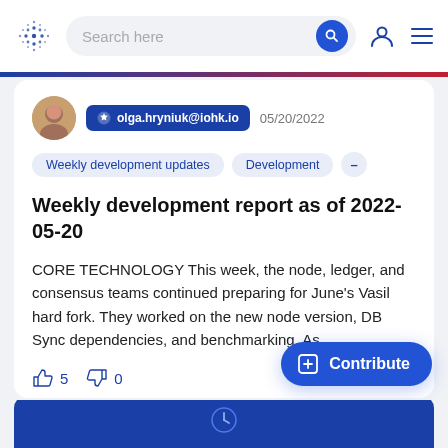Search here
olga.hryniuk@iohk.io  05/20/2022
Weekly development updates
Development
Weekly development report as of 2022-05-20
CORE TECHNOLOGY This week, the node, ledger, and consensus teams continued preparing for June's Vasil hard fork. They worked on the new node version, DB Sync dependencies, and benchmarking. As...
👍 5  👎 0
Contribute